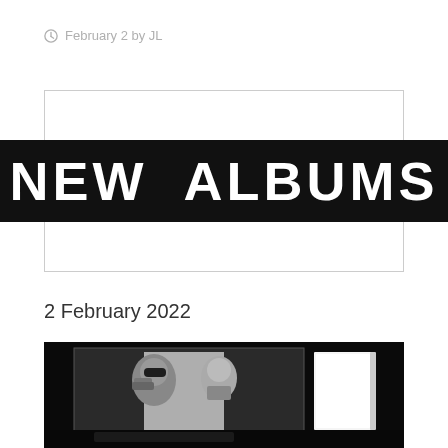February 2 by JL
[Figure (logo): Black banner with white bold text reading NEW ALBUMS, displayed inside a white-bordered rectangle]
2 February 2022
[Figure (photo): Black and white photo showing two people (one wearing sunglasses), displayed on what appears to be a screen or album cover, with a white rectangular object next to it, on a dark background]